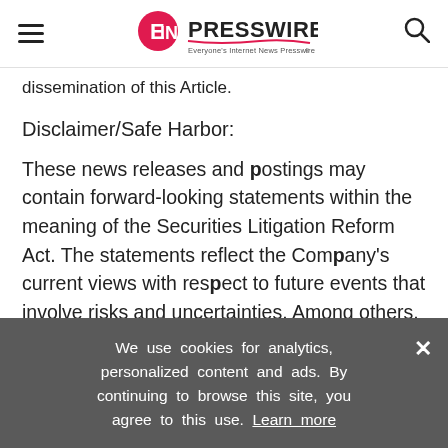EINPresswire — Everyone's Internet News Presswire
dissemination of this Article.
Disclaimer/Safe Harbor:
These news releases and postings may contain forward-looking statements within the meaning of the Securities Litigation Reform Act. The statements reflect the Company's current views with respect to future events that involve risks and uncertainties. Among others, these risks include the expectation that any of the companies mentioned herein will
We use cookies for analytics, personalized content and ads. By continuing to browse this site, you agree to this use. Learn more